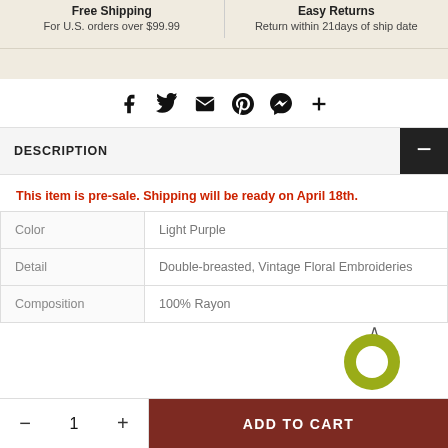Free Shipping
For U.S. orders over $99.99
Easy Returns
Return within 21days of ship date
[Figure (infographic): Social sharing icons: Facebook, Twitter, Email, Pinterest, Messenger, Plus]
DESCRIPTION
This item is pre-sale. Shipping will be ready on April 18th.
| Color | Light Purple |
| Detail | Double-breasted, Vintage Floral Embroideries |
| Composition | 100% Rayon |
— 1 +   ADD TO CART